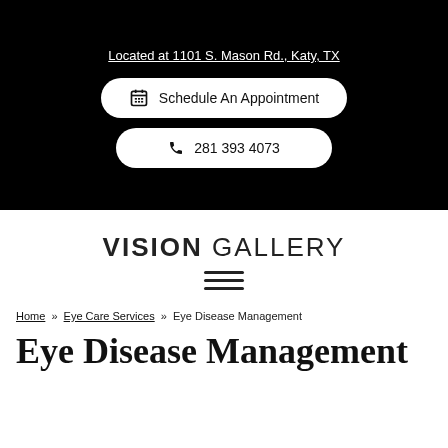Located at 1101 S. Mason Rd., Katy, TX
Schedule An Appointment
281 393 4073
VISION GALLERY
[Figure (other): Hamburger menu icon (three horizontal lines)]
Home » Eye Care Services » Eye Disease Management
Eye Disease Management